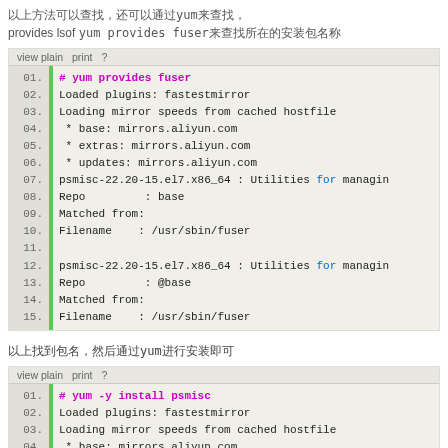yum provides lsof yum provides fuser
[Figure (screenshot): Code block showing terminal output of 'yum provides fuser' command with line numbers 01-15, showing loaded plugins, mirror speeds, and psmisc package info]
yum install psmisc
[Figure (screenshot): Code block showing terminal output of 'yum -y install psmisc' command with line numbers 01-03, showing loaded plugins and loading mirror speeds]